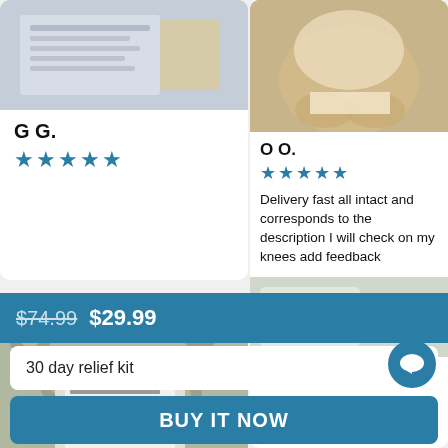[Figure (photo): Product photo top-left, showing a document/label on a surface]
G G.
★★★★★ (5 stars)
[Figure (photo): Product photo bottom-left showing a knee patch on a floral fabric background with label text visible]
[Figure (photo): Brown/beige product packaging photo top-right]
O O.
★★★★★ (5 stars)
Delivery fast all intact and corresponds to the description I will check on my knees add feedback
[Figure (photo): Product packaging photo bottom-right, partially visible]
$74.99  $29.99
30 day relief kit
BUY IT NOW